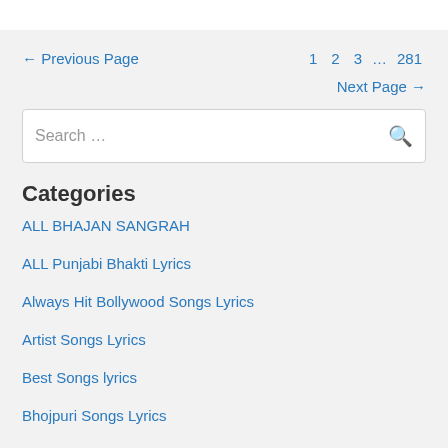← Previous Page   1   2   3   …   281
Next Page →
Search …
Categories
ALL BHAJAN SANGRAH
ALL Punjabi Bhakti Lyrics
Always Hit Bollywood Songs Lyrics
Artist Songs Lyrics
Best Songs lyrics
Bhojpuri Songs Lyrics